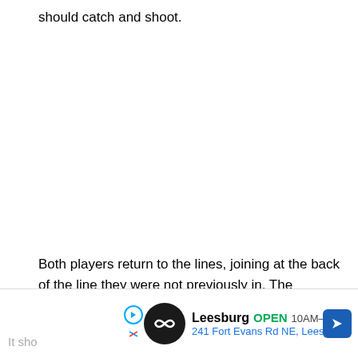should catch and shoot.
Both players return to the lines, joining at the back of the line they were not previously in. The objective of this drill is to learn and enhance attack passing.
[Figure (infographic): Advertisement banner for Leesburg business showing logo, OPEN status, hours 10AM-9PM, address 241 Fort Evans Rd NE, Leesburg, and navigation arrow icon]
It sho